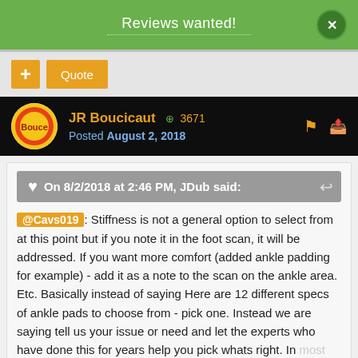Reviews wanted!
JR Boucicaut  +3671
Posted August 2, 2018
On 8/2/2018 at 2:46 PM, JDub said:
@Cavs019: Stiffness is not a general option to select from at this point but if you note it in the foot scan, it will be addressed. If you want more comfort (added ankle padding for example) - add it as a note to the scan on the ankle area. Etc. Basically instead of saying Here are 12 different specs of ankle pads to choose from - pick one. Instead we are saying tell us your issue or need and let the experts who have done this for years help you pick whats right. In most cases not everyone one knows what memory foam